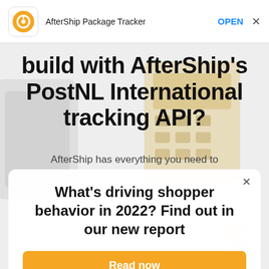AfterShip Package Tracker  OPEN  X
build with AfterShip's PostNL International tracking API?
AfterShip has everything you need to
What's driving shopper behavior in 2022? Find out in our new report
Read now